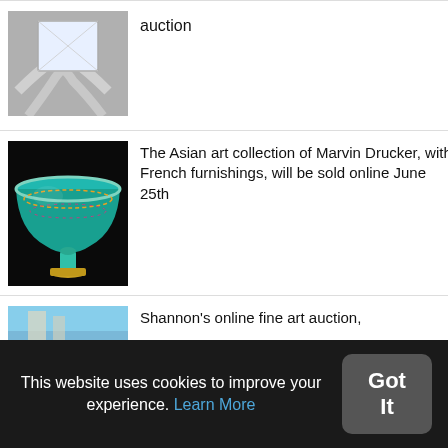[Figure (photo): A diamond ring with a large rectangular cut stone in a platinum setting]
auction
[Figure (photo): A cloisonne enamel stem cup with turquoise and colorful floral pattern on black background]
The Asian art collection of Marvin Drucker, with French furnishings, will be sold online June 25th
[Figure (photo): A painting with a light blue sky and architectural elements]
Shannon's online fine art auction,
This website uses cookies to improve your experience. Learn More
Got It